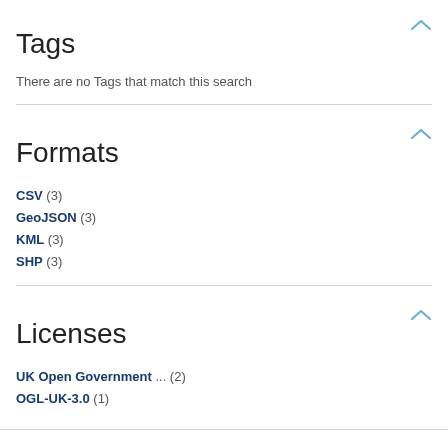Tags
There are no Tags that match this search
Formats
CSV (3)
GeoJSON (3)
KML (3)
SHP (3)
Licenses
UK Open Government ... (2)
OGL-UK-3.0 (1)